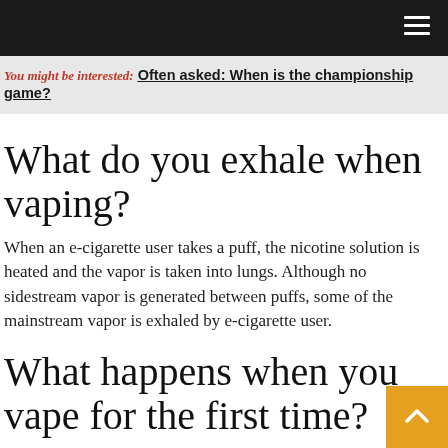You might be interested: Often asked: When is the championship game?
What do you exhale when vaping?
When an e-cigarette user takes a puff, the nicotine solution is heated and the vapor is taken into lungs. Although no sidestream vapor is generated between puffs, some of the mainstream vapor is exhaled by e-cigarette user.
What happens when you vape for the first time?
New research shows how even nicotine-free e-cigarettes harm normal blood flow in the body. Vaping just once — even when it doesn't contain nicotine or THC — can damage a person's